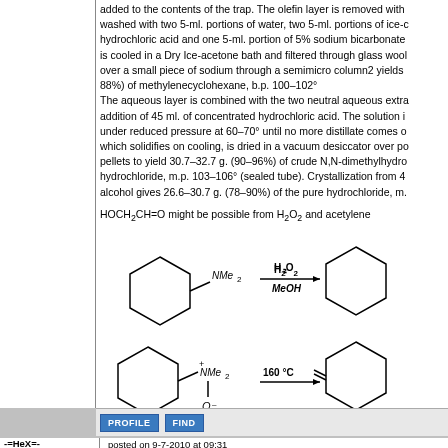added to the contents of the trap. The olefin layer is removed with washed with two 5-ml. portions of water, two 5-ml. portions of ice-cold hydrochloric acid and one 5-ml. portion of 5% sodium bicarbonate is cooled in a Dry Ice-acetone bath and filtered through glass wool over a small piece of sodium through a semimicro column2 yields 88%) of methylenecyclohexane, b.p. 100–102° The aqueous layer is combined with the two neutral aqueous extra addition of 45 ml. of concentrated hydrochloric acid. The solution is under reduced pressure at 60–70° until no more distillate comes o which solidifies on cooling, is dried in a vacuum desiccator over po pellets to yield 30.7–32.7 g. (90–96%) of crude N,N-dimethylhydro hydrochloride, m.p. 103–106° (sealed tube). Crystallization from 40 alcohol gives 26.6–30.7 g. (78–90%) of the pure hydrochloride, m.
HOCH2CH=O might be possible from H2O2 and acetylene
[Figure (engineering-diagram): Two chemical reaction diagrams. Top reaction: cyclohexylmethyl-NMe2 reacts with H2O2 in MeOH to give an intermediate. Bottom reaction: cyclohexylmethyl-NMe2 N-oxide reacts at 160°C to give methylenecyclohexane.]